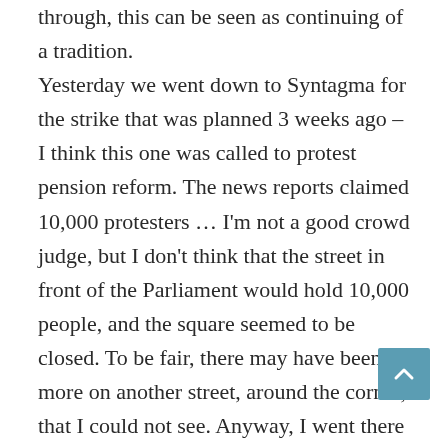through, this can be seen as continuing of a tradition. Yesterday we went down to Syntagma for the strike that was planned 3 weeks ago – I think this one was called to protest pension reform. The news reports claimed 10,000 protesters … I'm not a good crowd judge, but I don't think that the street in front of the Parliament would hold 10,000 people, and the square seemed to be closed. To be fair, there may have been more on another street, around the corner, that I could not see. Anyway, I went there with my son and niece, Scruffy the dog walking along with us, playing with the Syntagma Strays (that's the dogs in the square, not the dogs).